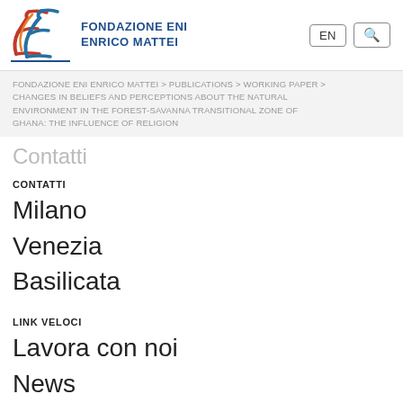[Figure (logo): Fondazione Eni Enrico Mattei logo with stylized EE letters in red/orange/blue and organization name in dark blue small caps]
FONDAZIONE ENI ENRICO MATTEI > PUBLICATIONS > WORKING PAPER > CHANGES IN BELIEFS AND PERCEPTIONS ABOUT THE NATURAL ENVIRONMENT IN THE FOREST-SAVANNA TRANSITIONAL ZONE OF GHANA: THE INFLUENCE OF RELIGION
Contatti
CONTATTI
Milano
Venezia
Basilicata
LINK VELOCI
Lavora con noi
News
Webmail
Intranet